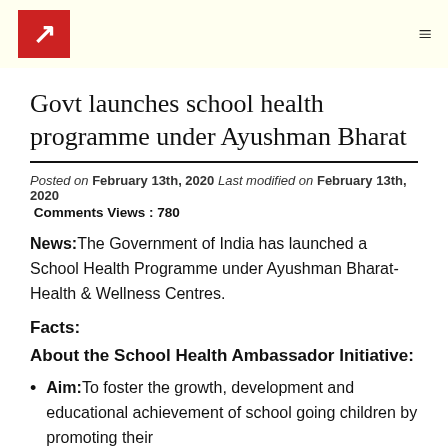Logo and navigation header
Govt launches school health programme under Ayushman Bharat
Posted on February 13th, 2020 Last modified on February 13th, 2020
Comments Views : 780
News:The Government of India has launched a School Health Programme under Ayushman Bharat-Health & Wellness Centres.
Facts:
About the School Health Ambassador Initiative:
Aim:To foster the growth, development and educational achievement of school going children by promoting their